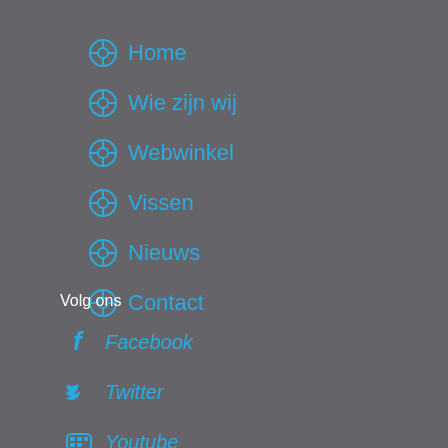Home
Wie zijn wij
Webwinkel
Vissen
Nieuws
Contact
Volg ons
Facebook
Twitter
Youtube
Instagram